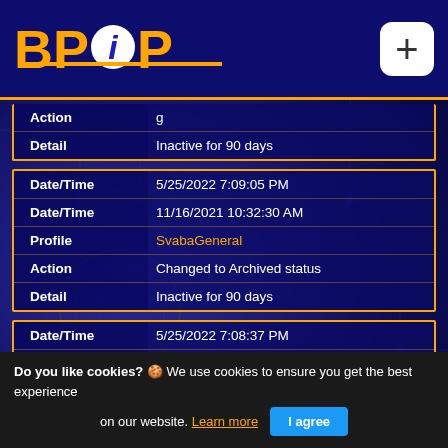[Figure (logo): BPiP logo with orange BP, white circle with blue i, orange P on dark blue background with orange underline. Plus button top right.]
| Field | Value |
| --- | --- |
| Action | g |
| Detail | Inactive for 90 days |
| Field | Value |
| --- | --- |
| Date/Time | 5/25/2022 7:09:05 PM |
| Date/Time | 11/16/2021 10:32:30 AM |
| Profile | SvabaGeneral |
| Action | Changed to Archived status |
| Detail | Inactive for 90 days |
| Field | Value |
| --- | --- |
| Date/Time | 5/25/2022 7:08:37 PM |
| Date/Time | 12/1/2021 4:36:58 PM |
| Profile | realgideoni |
| Action | Changed to Archived status |
| Detail | Inactive for 90 days |
| Field | Value |
| --- | --- |
| Date/Time | 5/25/2022 7:08:30 PM |
| Date/Time | 3/17/2022 10:56:37 PM |
Do you like cookies? 🍪 We use cookies to ensure you get the best experience on our website. Learn more  I agree